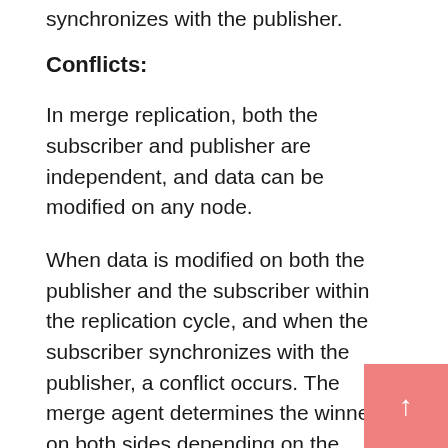synchronizes with the publisher.
Conflicts:
In merge replication, both the subscriber and publisher are independent, and data can be modified on any node.
When data is modified on both the publisher and the subscriber within the replication cycle, and when the subscriber synchronizes with the publisher, a conflict occurs. The merge agent determines the winner on both sides depending on the conflict resolver. By default, the winner is determined by different parameters such as a client or server subscription, pull or push